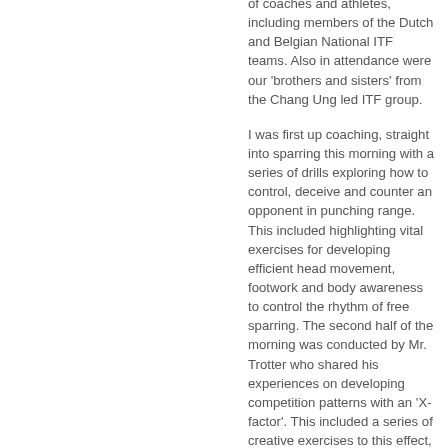of coaches and athletes, including members of the Dutch and Belgian National ITF teams. Also in attendance were our 'brothers and sisters' from the Chang Ung led ITF group.
I was first up coaching, straight into sparring this morning with a series of drills exploring how to control, deceive and counter an opponent in punching range. This included highlighting vital exercises for developing efficient head movement, footwork and body awareness to control the rhythm of free sparring. The second half of the morning was conducted by Mr. Trotter who shared his experiences on developing competition patterns with an 'X-factor'. This included a series of creative exercises to this effect, and also extended into practical advice on how to forge kicking techniques with real Martial arts spirit within patterns rather than relying on placing one's kicks into 'pretty' yet conservative positions to retain one's balance.